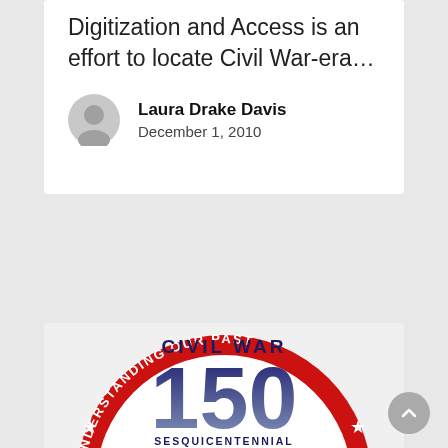Digitization and Access is an effort to locate Civil War-era…
Laura Drake Davis
December 1, 2010
[Figure (logo): Civil War 150 Sesquicentennial circular logo. Red ring with white text reading 'UNDERSTANDING OUR PAST' on top arc and 'EMBRACING THE FUTURE' on bottom arc, with white stars. Center shows 'CIVIL WAR' text above large '150' numerals in dark blue gradient with a map outline overlay, and 'SESQUICENTENNIAL' text below.]